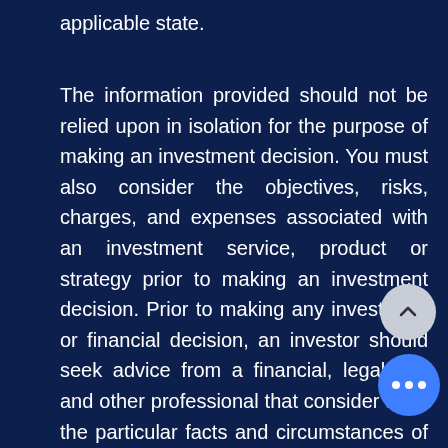applicable state.
The information provided should not be relied upon in isolation for the purpose of making an investment decision. You must also consider the objectives, risks, charges, and expenses associated with an investment service, product or strategy prior to making an investment decision. Prior to making any investment or financial decision, an investor should seek advice from a financial, legal, tax and other professional that consider all of the particular facts and circumstances of an investor's situation. The opinions expressed and material provided for information purposes only and is not an offer, recommendation, or solicitation of any product, strategy or transaction. Any views, strategies or products discussed